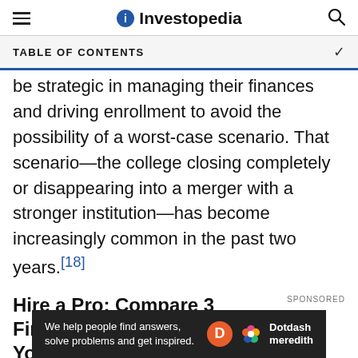Investopedia
TABLE OF CONTENTS
be strategic in managing their finances and driving enrollment to avoid the possibility of a worst-case scenario. That scenario—the college closing completely or disappearing into a merger with a stronger institution—has become increasingly common in the past two years.[18]
Hire a Pro: Compare 3 Financial Advisors Near You
Finding the right financial advisor that fits your needs doesn't have to be hard. SmartAsset's free tool
We help people find answers, solve problems and get inspired. Dotdash meredith